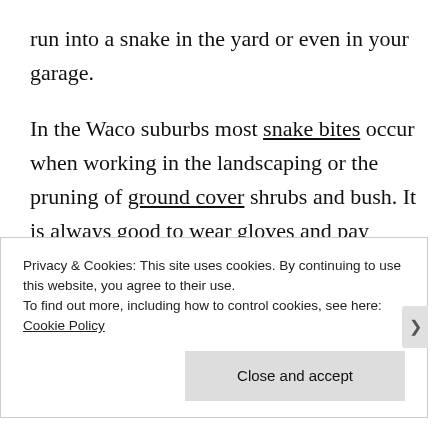run into a snake in the yard or even in your garage.
In the Waco suburbs most snake bites occur when working in the landscaping or the pruning of ground cover shrubs and bush. It is always good to wear gloves and pay attention to the area your are working in. Most snakes will try
Privacy & Cookies: This site uses cookies. By continuing to use this website, you agree to their use.
To find out more, including how to control cookies, see here: Cookie Policy